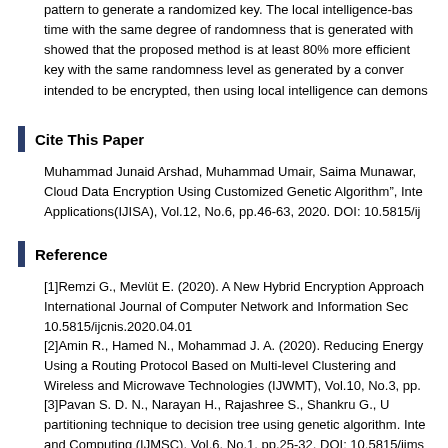pattern to generate a randomized key. The local intelligence-bas time with the same degree of randomness that is generated with showed that the proposed method is at least 80% more efficient key with the same randomness level as generated by a conver intended to be encrypted, then using local intelligence can demons
Cite This Paper
Muhammad Junaid Arshad, Muhammad Umair, Saima Munawar, Cloud Data Encryption Using Customized Genetic Algorithm", Inte Applications(IJISA), Vol.12, No.6, pp.46-63, 2020. DOI: 10.5815/ij
Reference
[1]Remzi G., Mevlüt E. (2020). A New Hybrid Encryption Approach International Journal of Computer Network and Information Sec 10.5815/ijcnis.2020.04.01
[2]Amin R., Hamed N., Mohammad J. A. (2020). Reducing Energy Using a Routing Protocol Based on Multi-level Clustering and Wireless and Microwave Technologies (IJWMT), Vol.10, No.3, pp.
[3]Pavan S. D. N., Narayan H., Rajashree S., Shankru G., U partitioning technique to decision tree using genetic algorithm. Inte and Computing (IJMSC), Vol.6, No.1, pp.25-32, DOI: 10.5815/ijms
[4]Abdallah, A. M., Ibrahim M. M. (2019). Text Encryption Using Computer Science and Network (IJCSN), 8(1), 36-39.